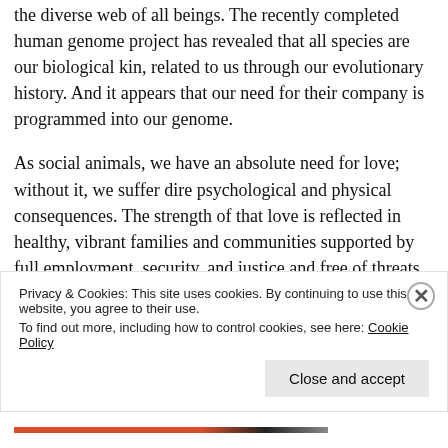the diverse web of all beings. The recently completed human genome project has revealed that all species are our biological kin, related to us through our evolutionary history. And it appears that our need for their company is programmed into our genome.
As social animals, we have an absolute need for love; without it, we suffer dire psychological and physical consequences. The strength of that love is reflected in healthy, vibrant families and communities supported by full employment, security, and justice and free of threats of genocide, terror
Privacy & Cookies: This site uses cookies. By continuing to use this website, you agree to their use.
To find out more, including how to control cookies, see here: Cookie Policy
Close and accept